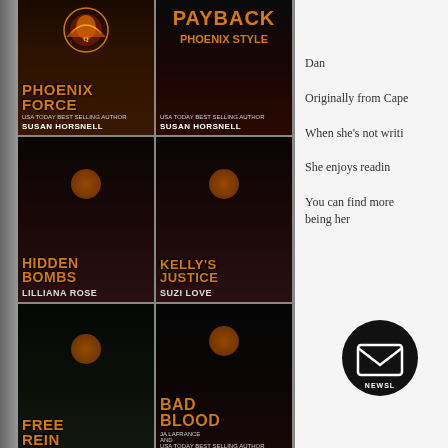[Figure (illustration): Book cover - PHOENIX FORCE by Susan Horsnell, showing phoenix emblem, dark background with orange lettering]
[Figure (illustration): Book cover - PAYBACK PHOENIX STYLE by Susan Horsnell, action figure on dark background with orange text]
[Figure (illustration): Book cover - HIDDEN BOMBS by Lilliana Rose, woman with dark hair on dark background]
[Figure (illustration): Book cover - KELLY'S JUSTICE by Suzi Love, woman with sunglasses on dark background]
[Figure (illustration): Book cover - FREE REIN by D'Ann Lindun, woman in hat with bow on dark background]
[Figure (illustration): Book cover - BAD BLOOD by JA LaFrance and Susan Horsnell, woman on dark background with orange lettering]
[Figure (illustration): Partial book cover - bottom row left, dark background with Phoenix emblem]
[Figure (illustration): Partial book cover - bottom row right, dark background with Phoenix emblem]
Dan
Originally from Cape
When she's not writi
She enjoys readin
You can find more being her
[Figure (illustration): Newsletter signup circular icon - black circle with envelope/letter icon and NEWSL text]